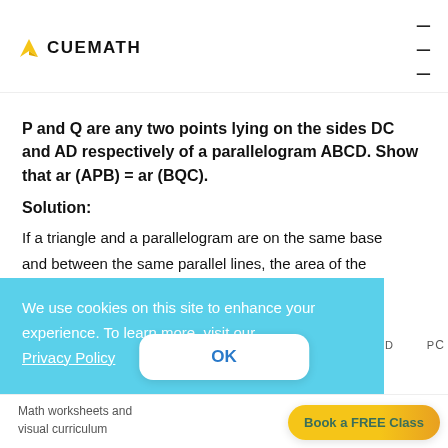CUEMATH
P and Q are any two points lying on the sides DC and AD respectively of a parallelogram ABCD. Show that ar (APB) = ar (BQC).
Solution:
If a triangle and a parallelogram are on the same base and between the same parallel lines, the area of the triangle will be half of the area of the parallelogram.
We use cookies on this site to enhance your experience. To learn more, visit our Privacy Policy
Math worksheets and visual curriculum